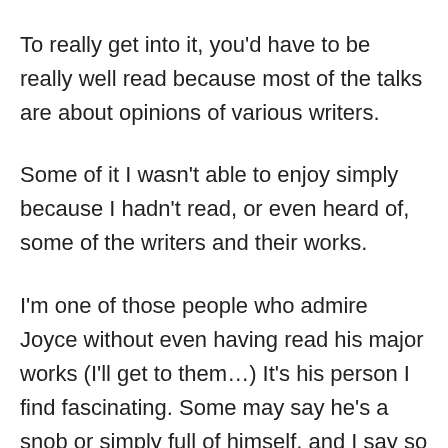To really get into it, you'd have to be really well read because most of the talks are about opinions of various writers.
Some of it I wasn't able to enjoy simply because I hadn't read, or even heard of, some of the writers and their works.
I'm one of those people who admire Joyce without even having read his major works (I'll get to them…) It's his person I find fascinating. Some may say he's a snob or simply full of himself, and I say so what.
His concept for Art is basically this: youth breeds romantics, but maturity has to breed mature work. Oh, and break the rules of writing.